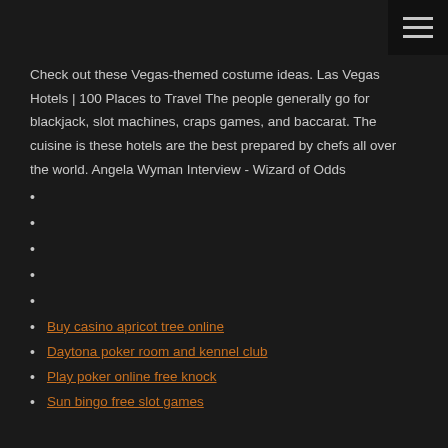menu icon (hamburger)
Check out these Vegas-themed costume ideas. Las Vegas Hotels | 100 Places to Travel The people generally go for blackjack, slot machines, craps games, and baccarat. The cuisine is these hotels are the best prepared by chefs all over the world. Angela Wyman Interview - Wizard of Odds
Buy casino apricot tree online
Daytona poker room and kennel club
Play poker online free knock
Sun bingo free slot games